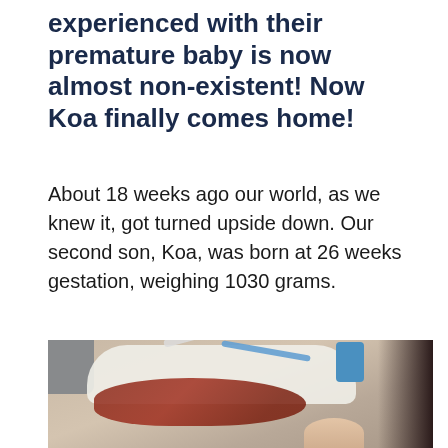experienced with their premature baby is now almost non-existent! Now Koa finally comes home!
About 18 weeks ago our world, as we knew it, got turned upside down. Our second son, Koa, was born at 26 weeks gestation, weighing 1030 grams.
[Figure (photo): A premature newborn baby in a NICU incubator, connected to various tubes and medical equipment. The baby appears very small and is surrounded by medical devices. A person's hand is visible at the right side of the image.]